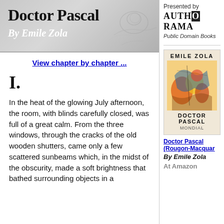Doctor Pascal
By Emile Zola
[Figure (illustration): Sketch/drawing of a reclining figure, used as banner background]
Presented by
AUTHORAMA
Public Domain Books
View chapter by chapter ...
I.
In the heat of the glowing July afternoon, the room, with blinds carefully closed, was full of a great calm. From the three windows, through the cracks of the old wooden shutters, came only a few scattered sunbeams which, in the midst of the obscurity, made a soft brightness that bathed surrounding objects in a
[Figure (illustration): Book cover for Doctor Pascal by Emile Zola (Mondial edition) with colorful abstract art]
Doctor Pascal (Rougon-Macquar
By Emile Zola
At Amazon